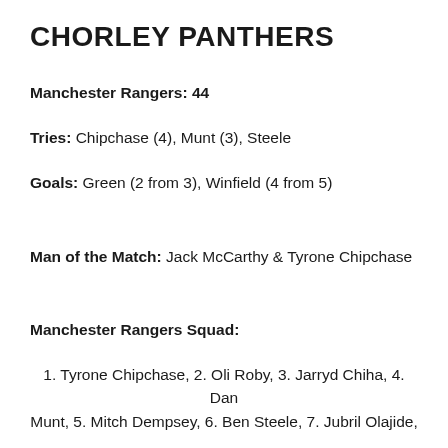CHORLEY PANTHERS
Manchester Rangers: 44
Tries: Chipchase (4), Munt (3), Steele
Goals: Green (2 from 3), Winfield (4 from 5)
Man of the Match: Jack McCarthy & Tyrone Chipchase
Manchester Rangers Squad:
1. Tyrone Chipchase, 2. Oli Roby, 3. Jarryd Chiha, 4. Dan Munt, 5. Mitch Dempsey, 6. Ben Steele, 7. Jubril Olajide,